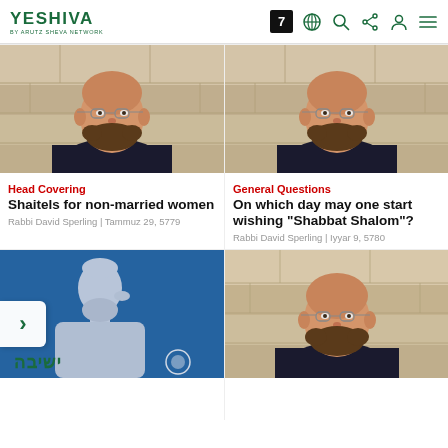YESHIVA — navigation header with logo, icons: 7, globe, search, share, person, menu
[Figure (photo): Photo of Rabbi David Sperling smiling, wearing glasses and dark jacket, stone wall background — top left card]
Head Covering
Shaitels for non-married women
Rabbi David Sperling | Tammuz 29, 5779
[Figure (photo): Photo of Rabbi David Sperling smiling, wearing glasses and dark jacket, stone wall background — top right card]
General Questions
On which day may one start wishing "Shabbat Shalom"?
Rabbi David Sperling | Iyyar 9, 5780
[Figure (illustration): Blue card with white silhouette of a rabbi/person profile, Hebrew text at bottom — bottom left card]
[Figure (photo): Photo of Rabbi David Sperling smiling, wearing glasses and dark jacket, stone wall background — bottom right card]